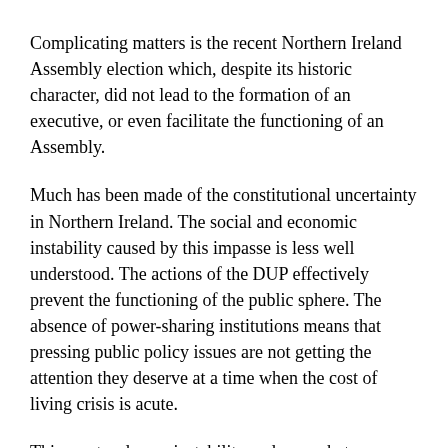Complicating matters is the recent Northern Ireland Assembly election which, despite its historic character, did not lead to the formation of an executive, or even facilitate the functioning of an Assembly.
Much has been made of the constitutional uncertainty in Northern Ireland. The social and economic instability caused by this impasse is less well understood. The actions of the DUP effectively prevent the functioning of the public sphere. The absence of power-sharing institutions means that pressing public policy issues are not getting the attention they deserve at a time when the cost of living crisis is acute.
This creates deeper instability and exacerbates division. The UK Peace Index (2013) demonstrates a correlation between deprivation and peace: “By tackling deprivation you can have a big impact on peace”. The UK Government and the Irish Government have long understood that supporting Northern